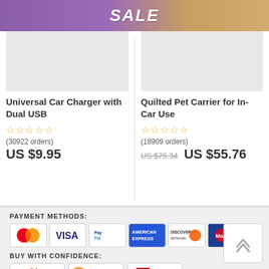[Figure (illustration): Purple SALE banner with golden holiday background]
[Figure (photo): Gray placeholder image for Universal Car Charger product]
Universal Car Charger with Dual USB
☆☆☆☆☆ (30922 orders)
US $9.95
[Figure (photo): Gray placeholder image for Quilted Pet Carrier product]
Quilted Pet Carrier for In-Car Use
☆☆☆☆☆ (18909 orders)
US $75.34  US $55.76
PAYMENT METHODS:
[Figure (logo): Payment method logos: MasterCard, VISA, PayPal, American Express, Discover, Maestro]
BUY WITH CONFIDENCE:
[Figure (logo): Trust logos: Namecheap, Secured Payments powered by PayPal, SSL Secure]